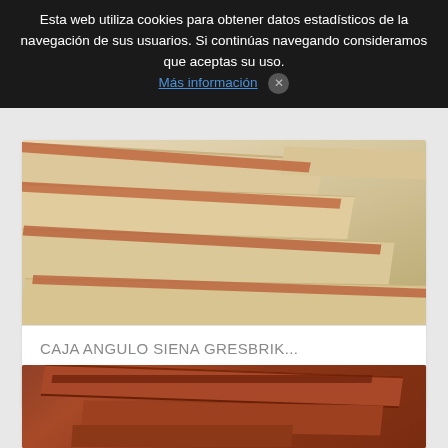Esta web utiliza cookies para obtener datos estadísticos de la navegación de sus usuarios. Si continúas navegando consideramos que aceptas su uso. Más información ✕
[Figure (photo): Close-up photo of corner brick pieces showing stacked beige/tan brick corners with reddish-brown mortar lines, product photo for CAJA ANGULO SIENA GRESBRIK]
CAJA ANGULO SIENA GRESBRIK...
€0.99
[Figure (photo): Close-up photo of dark reddish-brown corner brick pieces, product photo for second item]